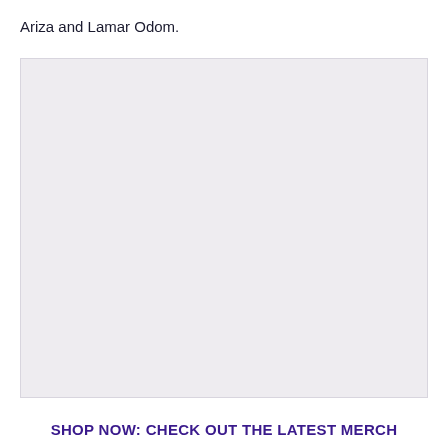Ariza and Lamar Odom.
[Figure (photo): Large image placeholder area with light gray background, no visible image content]
SHOP NOW: CHECK OUT THE LATEST MERCH